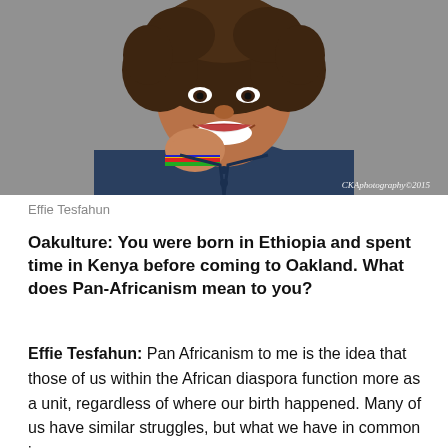[Figure (photo): Portrait photo of Effie Tesfahun, a woman with curly hair, smiling, wearing a blue jacket and colorful beaded bracelet. Photo credit: CKAphotography©2015]
Effie Tesfahun
Oakulture: You were born in Ethiopia and spent time in Kenya before coming to Oakland. What does Pan-Africanism mean to you?
Effie Tesfahun: Pan Africanism to me is the idea that those of us within the African diaspora function more as a unit, regardless of where our birth happened. Many of us have similar struggles, but what we have in common is